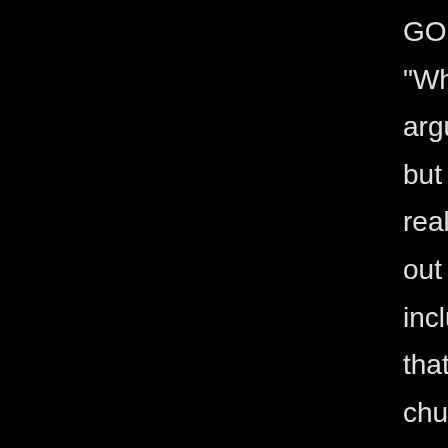GO!'s 3rd single, "Why Suffer?", was arguably their best, but also the last one I really liked. They put out one or two more, including a flexi-disc that featured a goodly chunk of their now-legendary appearance on Pat Duncan's show. By the time it came out, they had a couple of tours under their belts but were playing 2nd fiddle to some of the more polished bands that had come into their own thanks to the scene